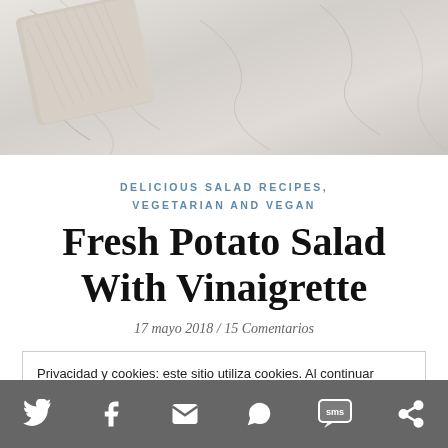[Figure (photo): Close-up of a marble surface with a beige linen cloth folded in the corner]
DELICIOUS SALAD RECIPES, VEGETARIAN AND VEGAN
Fresh Potato Salad With Vinaigrette
17 mayo 2018 / 15 Comentarios
Privacidad y cookies: este sitio utiliza cookies. Al continuar utilizando esta web, aceptas su uso.
Para obtener más información, incluido cómo controlar las cookies, consulta aquí: Política de cookies
Social share bar with Twitter, Facebook, Email, WhatsApp, SMS, and share icons